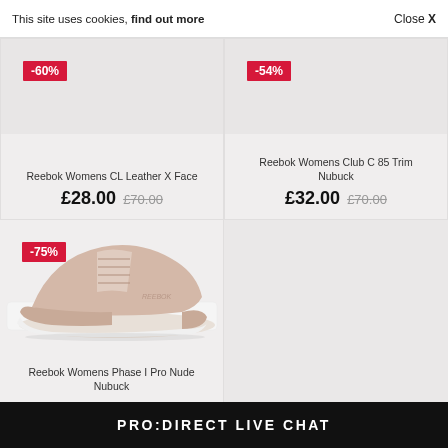This site uses cookies, find out more   Close X
[Figure (photo): Reebok Womens CL Leather X Face shoe product image on light grey background, -60% discount badge]
Reebok Womens CL Leather X Face
£28.00  £70.00
[Figure (photo): Reebok Womens Club C 85 Trim Nubuck shoe product image on light grey background, -54% discount badge]
Reebok Womens Club C 85 Trim Nubuck
£32.00  £70.00
[Figure (photo): Reebok Womens Phase I Pro Nude Nubuck pink/nude shoes on white background, -75% discount badge]
Reebok Womens Phase I Pro Nude Nubuck
PRO:DIRECT LIVE CHAT